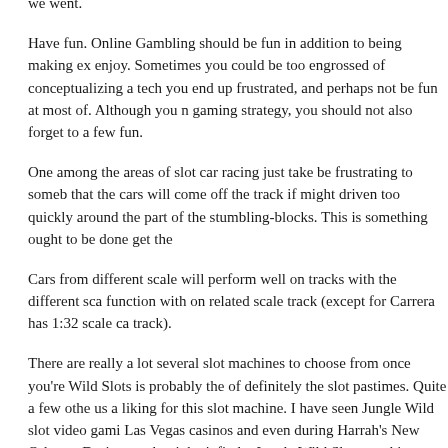we went.
Have fun. Online Gambling should be fun in addition to being making ex enjoy. Sometimes you could be too engrossed of conceptualizing a tech you end up frustrated, and perhaps not be fun at most of. Although you gaming strategy, you should not also forget to a few fun.
One among the areas of slot car racing just take be frustrating to someb that the cars will come off the track if might driven too quickly around the part of the stumbling-blocks. This is something ought to be done get the
Cars from different scale will perform well on tracks with the different sca function with on related scale track (except for Carrera has 1:32 scale ca track).
There are really a lot several slot machines to choose from once you're Wild Slots is probably the of definitely the slot pastimes. Quite a few othe us a liking for this slot machine. I have seen Jungle Wild slot video gami Las Vegas casinos and even during Harrah's New Orleans. During week mightn't find a Jungle Wild Slots machine unoccupied. Personally, I can't hit a big winner playing this slot. Nonetheless, my wife has several the ti possibly the most you will certainly win factor like $500, when you are w
Gambling will become serious if not given proper mind. When this beco